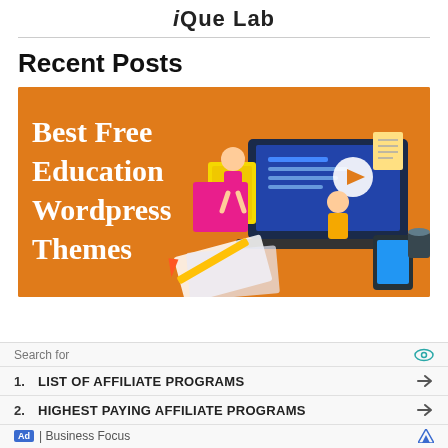iQue Lab
Recent Posts
[Figure (illustration): Orange banner image with white text reading 'Best Free Education Wordpress Themes' with illustrated characters and laptop/education icons on right side]
Search for
1. LIST OF AFFILIATE PROGRAMS
2. HIGHEST PAYING AFFILIATE PROGRAMS
Ad | Business Focus